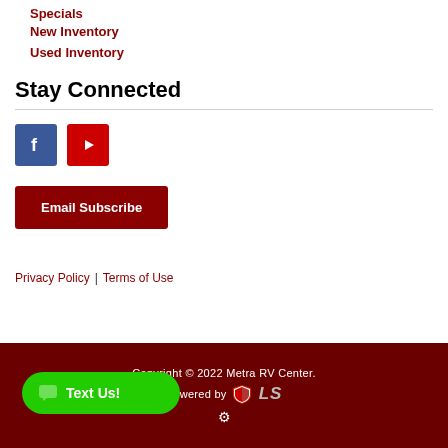Specials
New Inventory
Used Inventory
Stay Connected
[Figure (logo): Facebook icon (blue square with white F) and YouTube icon (red square with white play button)]
Email Subscribe
Privacy Policy | Terms of Use
Copyright © 2022 Metra RV Center. Powered by [LS logo]
[Figure (illustration): Green rounded Text Us! button with chat bubble icon]